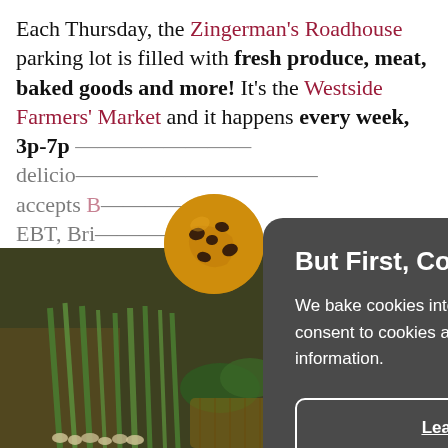Each Thursday, the Zingerman's Roadhouse parking lot is filled with fresh produce, meat, baked goods and more! It's the Westside Farmers' Market and it happens every week, 3p-7p... [vendors are there with their] delicious... accepts B... EBT, Bri... dog frie...
[Figure (photo): Farmers market produce - green onions, herbs, vegetables in baskets]
But First, Cookies!
We bake cookies into our site to provide you with the best experience. By using our site, you consent to cookies and tracking. They help us find site issues and bring you the most relevant information.
Learn More | Accept & Continue